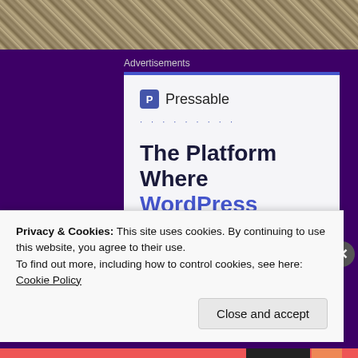[Figure (photo): Top strip showing dried plant material / ground texture]
Advertisements
[Figure (screenshot): Pressable advertisement. Logo: P Pressable. Dotted line decoration. Headline: The Platform Where WordPress Works Best. Button: SEE PRICING]
Privacy & Cookies: This site uses cookies. By continuing to use this website, you agree to their use.
To find out more, including how to control cookies, see here: Cookie Policy
Close and accept